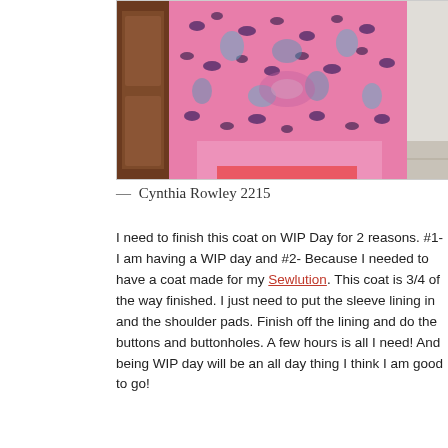[Figure (photo): Photo of a pink floral and leopard print fabric/coat laid out, with a wooden dresser visible on the left and a white wall/door on the right.]
— Cynthia Rowley 2215
I need to finish this coat on WIP Day for 2 reasons. #1- I am having a WIP day and #2- Because I needed to have a coat made for my Sewlution. This coat is 3/4 of the way finished. I just need to put the sleeve lining in and the shoulder pads. Finish off the lining and do the buttons and buttonholes. A few hours is all I need! And being WIP day will be an all day thing I think I am good to go!